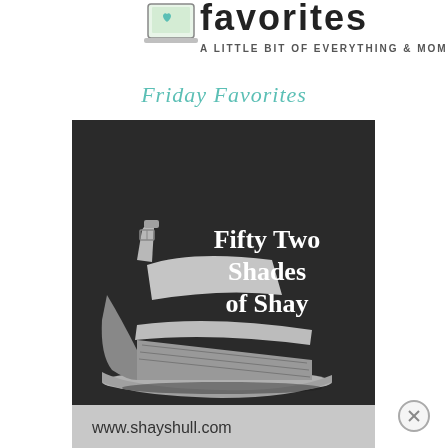[Figure (logo): Blog header logo showing a laptop with a heart and the text 'favorites - a little bit of everything & momfessionals blog' in a hand-drawn style]
Friday Favorites
[Figure (photo): Black and white promotional image of a grey wedge sandal shoe with text overlay 'Fifty Two Shades of Shay' and website 'www.shayshull.com' at the bottom]